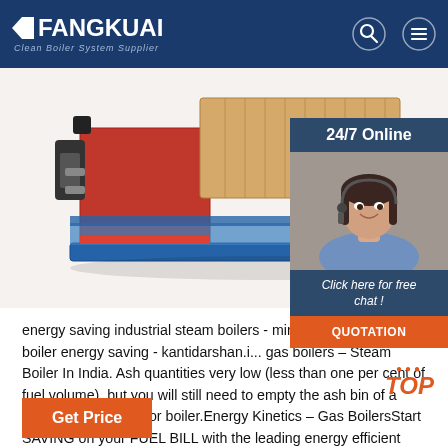FANGKUAI - Clean Boiler System Supplier
[Figure (photo): Industrial steam boiler equipment - red and tan colored boiler unit with pipes and components shown at angle]
[Figure (photo): 24/7 Online customer service representative - woman with headset smiling, with chat and quotation widget overlay]
energy saving industrial steam boilers - miro-ha... Gas steam boiler energy saving - kantidarshan.i... gas boilers – Steam Boiler In India. Ash quantities very low (less than one per cent of fuel volume), but you will still need to empty the ash bin of a wood burning stove or boiler.Energy Kinetics – Gas BoilersStart SAVING on your FUEL BILL with the leading energy efficient gas and oil boiler and hot water system.
[Figure (logo): TOP badge with orange dots and italic text]
Get Price